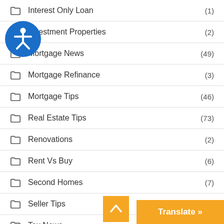Interest Only Loan (1)
Investment Properties (2)
Mortgage News (49)
Mortgage Refinance (3)
Mortgage Tips (46)
Real Estate Tips (73)
Renovations (2)
Rent Vs Buy (6)
Second Homes (7)
Seller Tips (3)
Tax News (1)
Uncategorized (4)
USDA Loan (1)
VA Loans